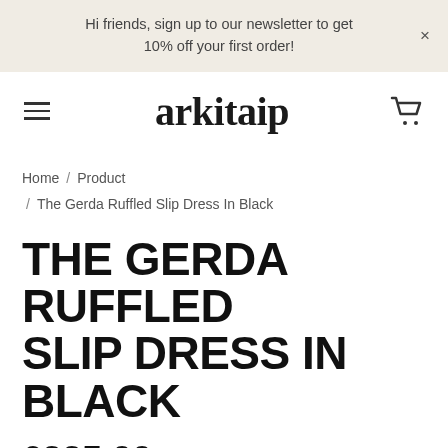Hi friends, sign up to our newsletter to get 10% off your first order!
[Figure (logo): arkitaip brand logo with hamburger menu and shopping cart icon]
Home / Product / The Gerda Ruffled Slip Dress In Black
THE GERDA RUFFLED SLIP DRESS IN BLACK
£225.00